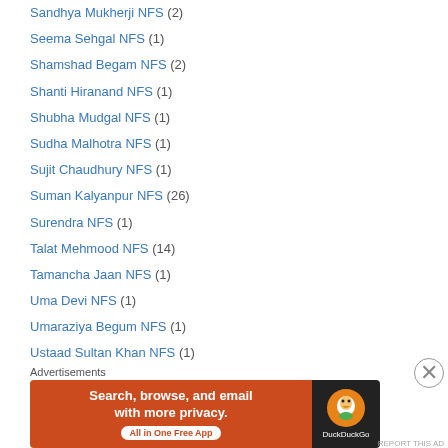Sandhya Mukherji NFS (2)
Seema Sehgal NFS (1)
Shamshad Begam NFS (2)
Shanti Hiranand NFS (1)
Shubha Mudgal NFS (1)
Sudha Malhotra NFS (1)
Sujit Chaudhury NFS (1)
Suman Kalyanpur NFS (26)
Surendra NFS (1)
Talat Mehmood NFS (14)
Tamancha Jaan NFS (1)
Uma Devi NFS (1)
Umaraziya Begum NFS (1)
Ustaad Sultan Khan NFS (1)
Vidyanath Seth NFS (1)
Zohrabai Ambalewaali NFS (1)
Advertisements
[Figure (screenshot): DuckDuckGo advertisement banner: Search, browse, and email with more privacy. All in One Free App.]